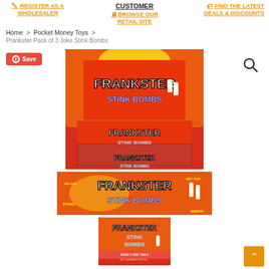REGISTER AS A WHOLESALER | CUSTOMER / BROWSE OUR RETAIL SITE | FIND THE LATEST DEALS & DISCOUNTS
Home > Pocket Money Toys > Prankster Pack of 3 Joke Stink Bombs
[Figure (photo): Product photos of Prankster Stink Bombs by Frankster — three images: a display box of Stink Bombs packages stacked, a single Stink Bombs package front view, and a single card front view. Red/yellow packaging with cartoon character branding. Bottom card shows ADULT USE ONLY label.]